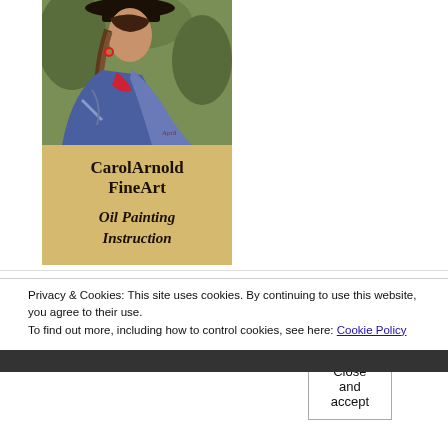[Figure (illustration): Book cover image for CarolArnold FineArt Oil Painting Instruction. Shows a painting of a woman wearing a hat and colorful clothing, with text 'CarolArnold FineArt Oil Painting Instruction' on a tan/yellow background.]
Privacy & Cookies: This site uses cookies. By continuing to use this website, you agree to their use.
To find out more, including how to control cookies, see here: Cookie Policy
Close and accept